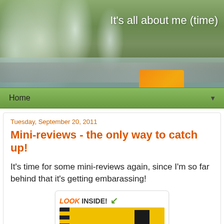[Figure (photo): Blog header banner with waterfall and greenery background. Text reads 'It's all about me (time)' in handwritten white font. Orange element visible at right.]
Home ▼
Tuesday, September 20, 2011
Mini-reviews - the only way to catch up!
It's time for some mini-reviews again, since I'm so far behind that it's getting embarassing!
[Figure (photo): Book cover for 'Something Borrowed' with a woman in a black dress standing next to a yellow taxi cab. 'LOOK INSIDE!' label at top with green arrow.]